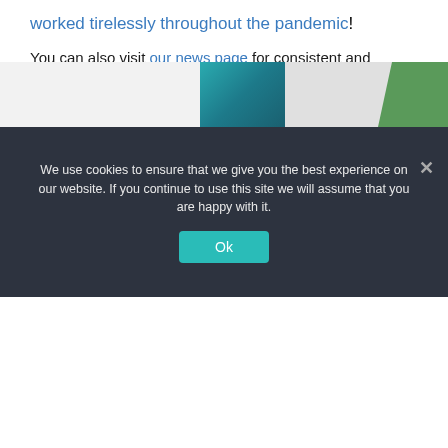worked tirelessly throughout the pandemic!
You can also visit our news page for consistent and informative content regarding self-storage tips and tricks to help you out further!
We provide all of these services, from cheap prices and accessible locations to top quality customer services so that you can find your storage solution as easily as possible.
Contact us today by emailing info@boylinsselfstore.co.uk or calling us on 01226 321800.
[Figure (photo): Partial view of a room with decorative items including a teal/blue abstract artwork and green plant leaves on a light background]
We use cookies to ensure that we give you the best experience on our website. If you continue to use this site we will assume that you are happy with it.